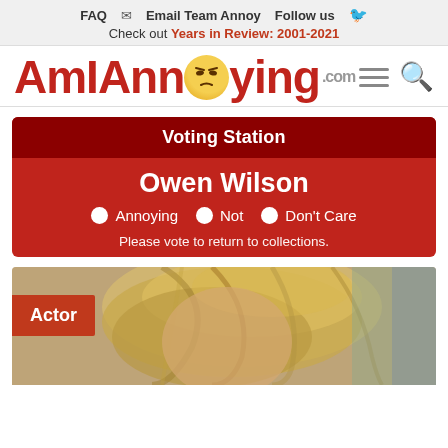FAQ  Email Team Annoy  Follow us
Check out Years in Review: 2001-2021
AmIAnnoying.com
Voting Station
Owen Wilson
Annoying  Not  Don't Care
Please vote to return to collections.
[Figure (photo): Photo of Owen Wilson with blond tousled hair, with an 'Actor' badge overlay in orange-red]
Actor